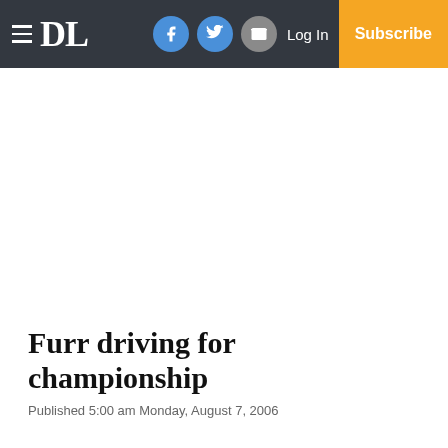DL | Log In | Subscribe
Furr driving for championship
Published 5:00 am Monday, August 7, 2006